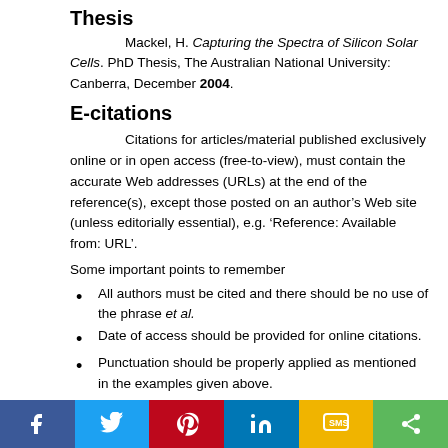Thesis
Mackel, H. Capturing the Spectra of Silicon Solar Cells. PhD Thesis, The Australian National University: Canberra, December 2004.
E-citations
Citations for articles/material published exclusively online or in open access (free-to-view), must contain the accurate Web addresses (URLs) at the end of the reference(s), except those posted on an author’s Web site (unless editorially essential), e.g. ‘Reference: Available from: URL’.
Some important points to remember
All authors must be cited and there should be no use of the phrase et al.
Date of access should be provided for online citations.
Punctuation should be properly applied as mentioned in the examples given above.
Abstracts, unpublished data and personal communications (which can only be included if prior permission has been obtained) should not be given in the references section. The details may
[Figure (infographic): Social media sharing bar with buttons for Facebook, Twitter, Pinterest, LinkedIn, SMS, and Share]